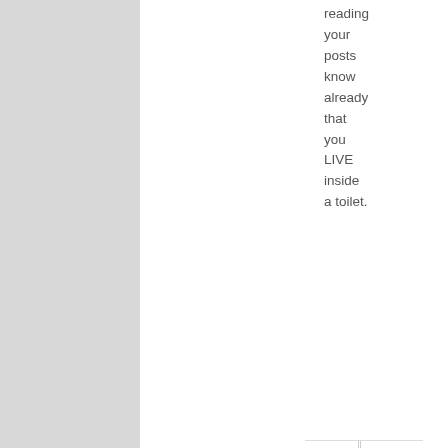reading your posts know already that you LIVE inside a toilet.
[Figure (illustration): User avatar placeholder image (gray silhouette)]
Mi De April 17, 201 at 9:2 am
HAHAH
[Figure (illustration): User avatar placeholder image (gray silhouette)]
Mi De